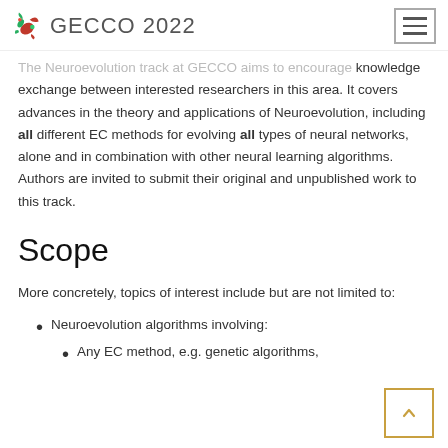GECCO 2022
The Neuroevolution track at GECCO aims to encourage knowledge exchange between interested researchers in this area. It covers advances in the theory and applications of Neuroevolution, including all different EC methods for evolving all types of neural networks, alone and in combination with other neural learning algorithms. Authors are invited to submit their original and unpublished work to this track.
Scope
More concretely, topics of interest include but are not limited to:
Neuroevolution algorithms involving:
Any EC method, e.g. genetic algorithms,